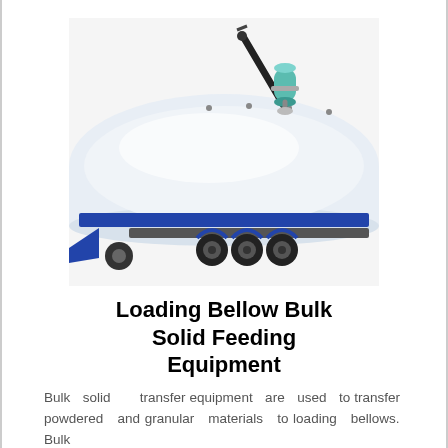[Figure (photo): A model or small-scale image of a bulk tanker truck trailer with a loading bellow arm mechanism mounted on top. The trailer is white and blue with multiple axles and tires, and a dark arm with a green cylindrical fitting extends upward from the top of the tank.]
Loading Bellow Bulk Solid Feeding Equipment
Bulk solid transfer equipment are used to transfer powdered and granular materials to loading bellows. Bulk